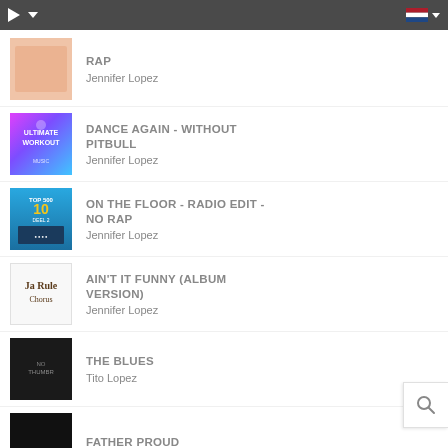Music streaming app top bar
RAP - Jennifer Lopez
DANCE AGAIN - WITHOUT PITBULL - Jennifer Lopez
ON THE FLOOR - RADIO EDIT - NO RAP - Jennifer Lopez
AIN'T IT FUNNY (ALBUM VERSION) - Jennifer Lopez
THE BLUES - Tito Lopez
FATHER PROUD